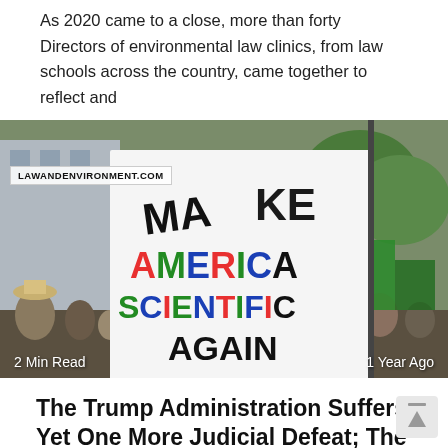As 2020 came to a close, more than forty Directors of environmental law clinics, from law schools across the country, came together to reflect and
[Figure (photo): Protest photo showing a sign reading 'MAKE AMERICA SCIENTIFIC AGAIN' with colorful letters (green, red, blue, black) at a demonstration. Crowd with other signs visible in background. Overlaid text: LAWANDENVIRONMENT.COM watermark, '2 Min Read' bottom left, '1 Year Ago' bottom right.]
The Trump Administration Suffers Yet One More Judicial Defeat; The “Secret Science” Rule Is Vacated
Last month, I noted that the Trump administration